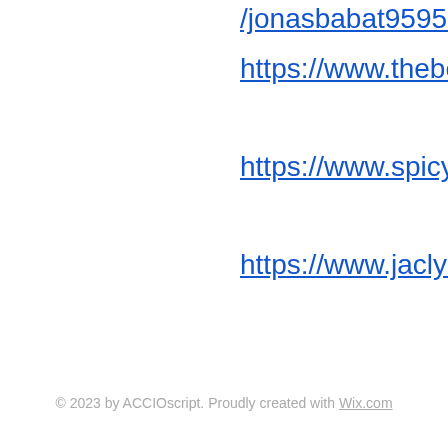/jonasbabat9595660/profile
https://www.thebelia.com/profile/maydannecker7505234/profile
https://www.spicyloops.net/profile/janettestegmann19605811/profile
https://www.jaclynjordannyc.com/profile/katherineskocilich9303100/profile
© 2023 by ACCIOscript. Proudly created with Wix.com